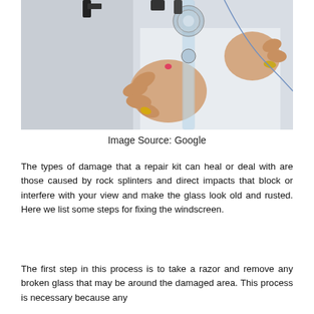[Figure (photo): Close-up photo of hands using a windscreen repair kit tool on glass, with a person in white clothing visible in background]
Image Source: Google
The types of damage that a repair kit can heal or deal with are those caused by rock splinters and direct impacts that block or interfere with your view and make the glass look old and rusted. Here we list some steps for fixing the windscreen.
The first step in this process is to take a razor and remove any broken glass that may be around the damaged area. This process is necessary because any